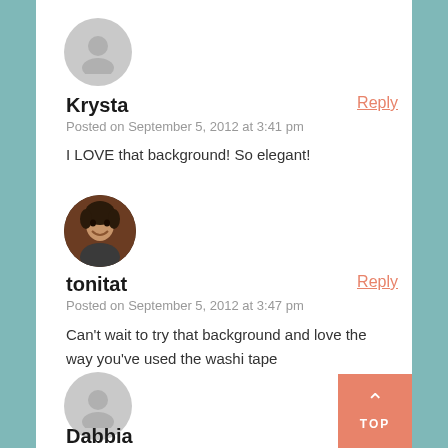[Figure (illustration): Gray default avatar icon, circular, for user Krysta]
Krysta
Reply
Posted on September 5, 2012 at 3:41 pm
I LOVE that background! So elegant!
[Figure (photo): Circular profile photo of tonitat, a woman smiling]
tonitat
Reply
Posted on September 5, 2012 at 3:47 pm
Can't wait to try that background and love the way you've used the washi tape
[Figure (illustration): Gray default avatar icon, circular, for user Dabbia]
Dabbia
Reply